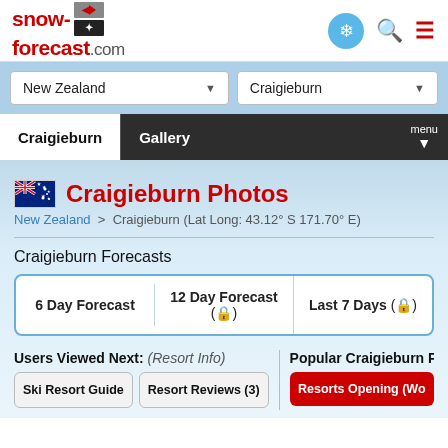snow-forecast.com
New Zealand | Craigieburn
Craigieburn | Gallery | menu
Craigieburn Photos
New Zealand > Craigieburn (Lat Long: 43.12° S 171.70° E)
Craigieburn Forecasts
6 Day Forecast | 12 Day Forecast (🔒) | Last 7 Days (🔒)
Users Viewed Next: (Resort Info)
Popular Craigieburn P
Ski Resort Guide | Resort Reviews (3) | Resorts Opening (Wo